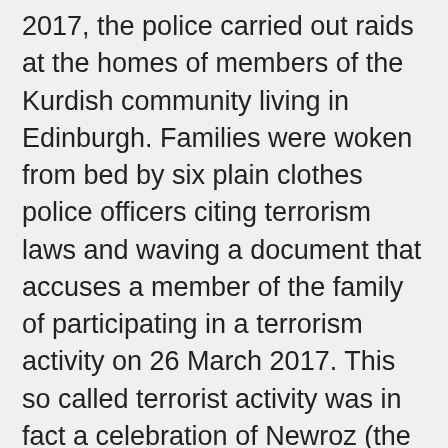2017, the police carried out raids at the homes of members of the Kurdish community living in Edinburgh. Families were woken from bed by six plain clothes police officers citing terrorism laws and waving a document that accuses a member of the family of participating in a terrorism activity on 26 March 2017. This so called terrorist activity was in fact a celebration of Newroz (the Kurdish New Year). Later, a forced entry was used to raid the Kurdish community centre in Wester Hailes, Edinburgh, despite the police being told that the key holder would be there “in twenty minutes.” https://peaceinkurdistancampaign.com/2017/09/01/response-to-racist-raids-of-kurdish-family-homes-in-edinburgh/